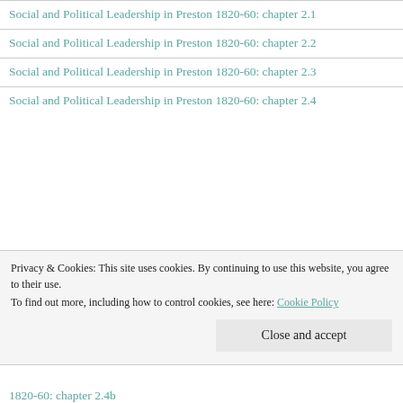Social and Political Leadership in Preston 1820-60: chapter 2.1
Social and Political Leadership in Preston 1820-60: chapter 2.2
Social and Political Leadership in Preston 1820-60: chapter 2.3
Social and Political Leadership in Preston 1820-60: chapter 2.4
Privacy & Cookies: This site uses cookies. By continuing to use this website, you agree to their use.
To find out more, including how to control cookies, see here: Cookie Policy
Close and accept
1820-60: chapter 2.4b